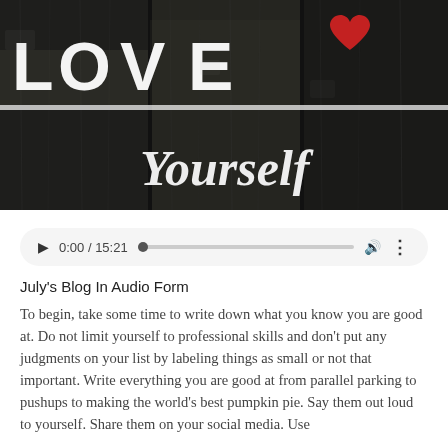[Figure (photo): A weathered wooden fence with 'LOVE' written in white paint and a red heart icon, with 'Yourself' written in script below on the lower boards.]
0:00 / 15:21 (audio player)
July's Blog In Audio Form
To begin, take some time to write down what you know you are good at. Do not limit yourself to professional skills and don't put any judgments on your list by labeling things as small or not that important. Write everything you are good at from parallel parking to pushups to making the world's best pumpkin pie. Say them out loud to yourself. Share them on your social media. Use